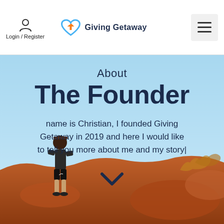Login / Register | Giving Getaway
About
The Founder
My name is Christian, I founded Giving Getaway in 2019 and here I would like to tell you more about me and my story|
[Figure (photo): A man in a dark t-shirt, shorts, and cap stands on reddish desert terrain with sparse dry shrubs and a blue sky background. This is a hero section image for an 'About The Founder' page of Giving Getaway website.]